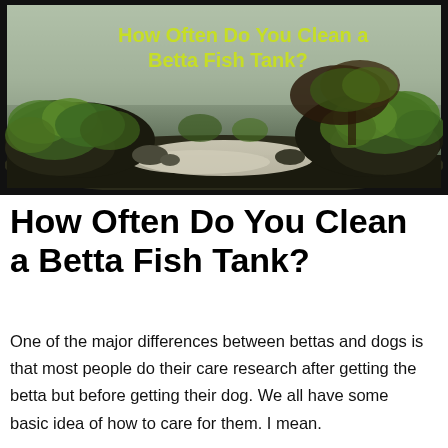[Figure (photo): A beautiful aquascaped fish tank with green plants, rocks, white sand substrate, and a dramatic aquatic landscape. Text overlay reads 'How Often Do You Clean a Betta Fish Tank?' in yellow-green color.]
How Often Do You Clean a Betta Fish Tank?
One of the major differences between bettas and dogs is that most people do their care research after getting the betta but before getting their dog. We all have some basic idea of how to care for them. I mean.